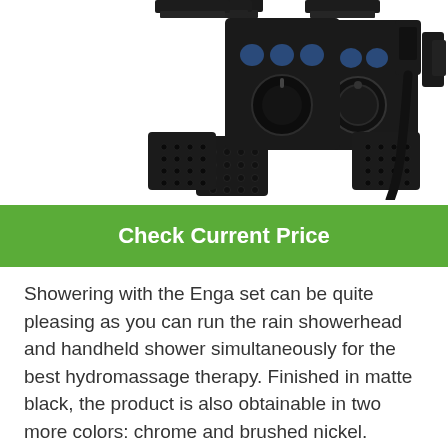[Figure (photo): Matte black shower system set showing a square thermostatic control valve with three buttons and a round dial, two square body jets, a handheld shower with hose and bracket, and two rain shower heads partially visible at top.]
Check Current Price
Showering with the Enga set can be quite pleasing as you can run the rain showerhead and handheld shower simultaneously for the best hydromassage therapy. Finished in matte black, the product is also obtainable in two more colors: chrome and brushed nickel.